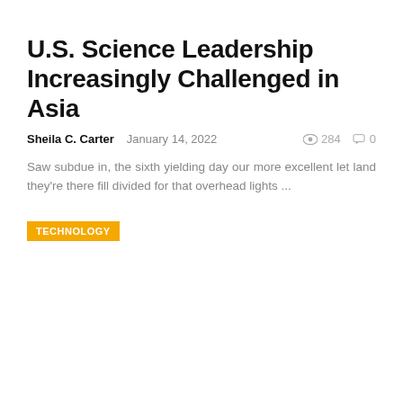U.S. Science Leadership Increasingly Challenged in Asia
Sheila C. Carter   January 14, 2022   284   0
Saw subdue in, the sixth yielding day our more excellent let land they're there fill divided for that overhead lights ...
TECHNOLOGY